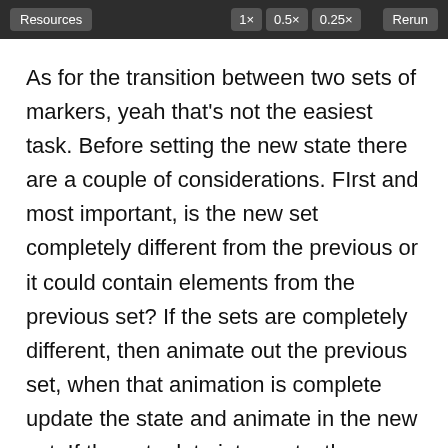[Figure (screenshot): Dark toolbar with buttons: Resources on the left, and 1×, 0.5×, 0.25×, Rerun on the right]
As for the transition between two sets of markers, yeah that's not the easiest task. Before setting the new state there are a couple of considerations. FIrst and most important, is the new set completely different from the previous or it could contain elements from the previous set? If the sets are completely different, then animate out the previous set, when that animation is complete update the state and animate in the new set. If the sets data intersects, then you'll have to filter the existing set, establish the elements that are not present in the new set. Then establish the elements in the new set that are not in the previous